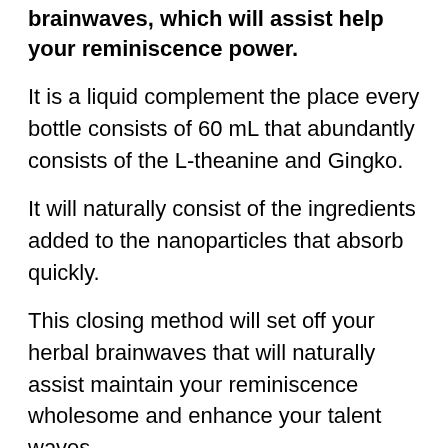brainwaves, which will assist help your reminiscence power.
It is a liquid complement the place every bottle consists of 60 mL that abundantly consists of the L-theanine and Gingko.
It will naturally consist of the ingredients added to the nanoparticles that absorb quickly.
This closing method will set off your herbal brainwaves that will naturally assist maintain your reminiscence wholesome and enhance your talent waves.
This magnificent system will work efficaciously to enhance your reminiscence and intellectual sharpness, and that will additionally limit the comfort